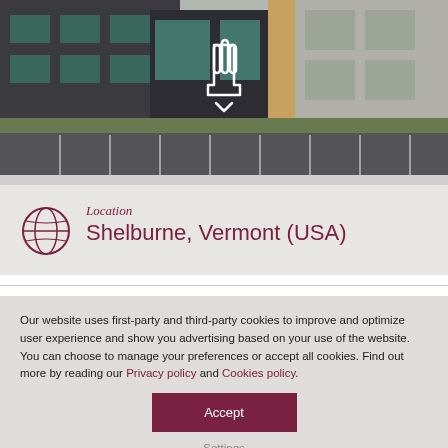[Figure (photo): Exterior photo of a modern commercial building with dark gray panels, large windows, and a parking lot in the foreground. A white hand/cursor icon with a downward chevron is overlaid in the center of the image.]
Location
Shelburne, Vermont (USA)
Our website uses first-party and third-party cookies to improve and optimize user experience and show you advertising based on your use of the website. You can choose to manage your preferences or accept all cookies. Find out more by reading our Privacy policy and Cookies policy.
Accept
Settings